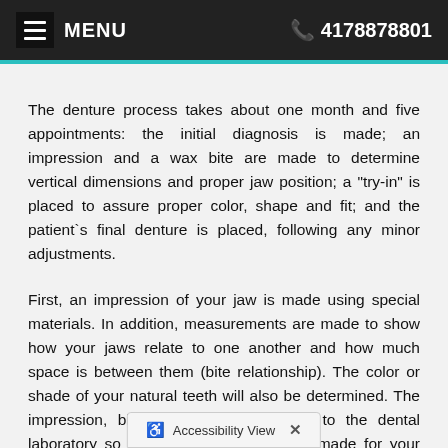≡ MENU   📞 4178878801
The denture process takes about one month and five appointments: the initial diagnosis is made; an impression and a wax bite are made to determine vertical dimensions and proper jaw position; a "try-in" is placed to assure proper color, shape and fit; and the patient`s final denture is placed, following any minor adjustments.
First, an impression of your jaw is made using special materials. In addition, measurements are made to show how your jaws relate to one another and how much space is between them (bite relationship). The color or shade of your natural teeth will also be determined. The impression, bite and shade are given to the dental laboratory so a denture can be custom-made for your mouth.